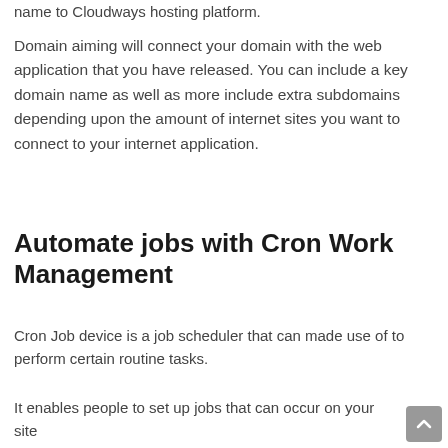name to Cloudways hosting platform.
Domain aiming will connect your domain with the web application that you have released. You can include a key domain name as well as more include extra subdomains depending upon the amount of internet sites you want to connect to your internet application.
Automate jobs with Cron Work Management
Cron Job device is a job scheduler that can made use of to perform certain routine tasks.
It enables people to set up jobs that can occur on your site